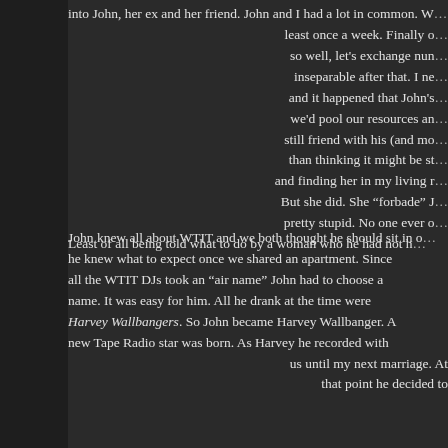into John, her ex and her friend. John and I had a lot in common. W... least once a week. Finally o... so well, let's exchange nun... inseparable after that. I ne... and it happened that John's... we'd pool our resources an... still friend with his (and mo... than thinking it might be st... and finding her in my living r... But she did. She "forbade" J... pretty stupid. No one ever o... Least of all being told what to do by a woman who he had not h...
John knew all about WTIT and we both thought he should sit in o... he knew what to expect once we shared an apartment. Since all the WTIT DJs took an "air name" John had to choose a name. It was easy for him. All he drank at the time were Harvey Wallbangers. So John became Harvey Wallbanger. A new Tape Radio star was born. As Harvey he recorded with us until my next marriage. At that point he decided to